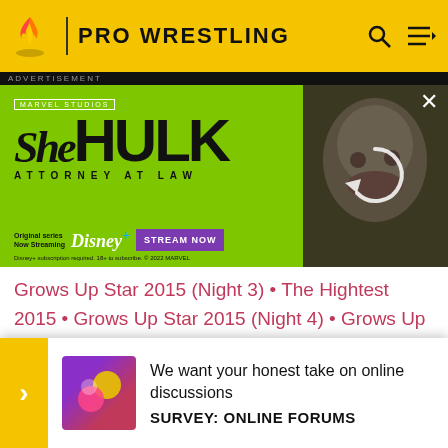PRO WRESTLING
[Figure (screenshot): She-Hulk Attorney at Law advertisement banner on green background with Marvel Studios logo, Disney+ streaming info and STREAM NOW button. Right side shows photo of She-Hulk character with a loading/refresh icon overlay.]
Grows Up Star 2015 (Night 3) • The Hightest 2015 • Grows Up Star 2015 (Night 4) • Grows Up Star 2015 (Night 5) • Grows Up Star In Hakata • Ryogoku Cinderella Champions Fiesta • Grows Up Star 2015 (Night 6) • Golden Week Stars 2015 – (Night 1) • Golden Week Stars 2015 – (Night 2) • Tournament Of Arc 1 • Tou... • Kiba... 5 – Nigh...
[Figure (infographic): Survey popup banner: yellow arrow button on left, survey image icon, text 'We want your honest take on online discussions' and bold 'SURVEY: ONLINE FORUMS']